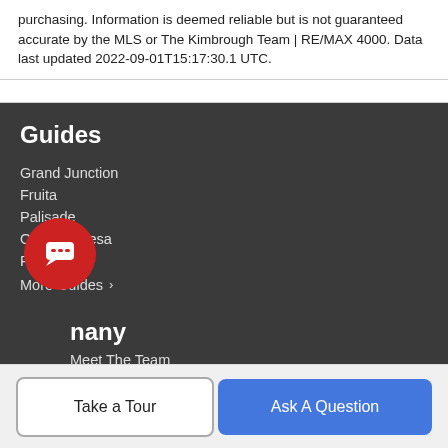purchasing. Information is deemed reliable but is not guaranteed accurate by the MLS or The Kimbrough Team | RE/MAX 4000. Data last updated 2022-09-01T15:17:30.1 UTC.
Guides
Grand Junction
Fruita
Palisade
Orchard Mesa
Redlands
More Guides >
Company
Meet The Team
Take a Tour
Ask A Question